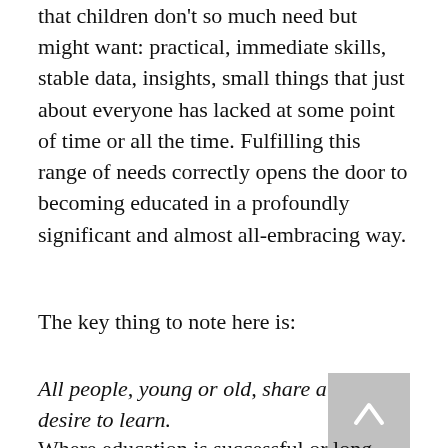that children don't so much need but might want: practical, immediate skills, stable data, insights, small things that just about everyone has lacked at some point of time or all the time. Fulfilling this range of needs correctly opens the door to becoming educated in a profoundly significant and almost all-embracing way.
The key thing to note here is:
All people, young or old, share a desire to learn.
Where education is successful or long-lasting, the emphasis is on the quality of purpose. This is certainly